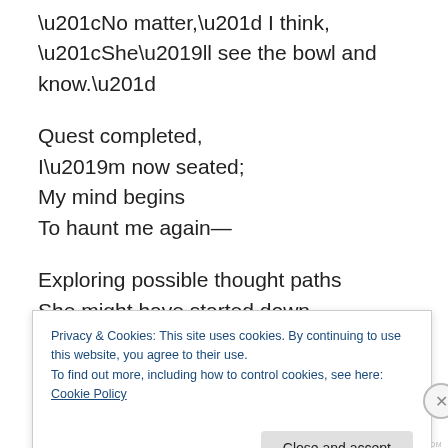“No matter,” I think,
“She’ll see the bowl and know.”
Quest completed,
I’m now seated;
My mind begins
To haunt me again—
Exploring possible thought paths
She might have started down.
Racing, racing around in circles,
A frenzy stirred up inside:
Privacy & Cookies: This site uses cookies. By continuing to use this website, you agree to their use. To find out more, including how to control cookies, see here: Cookie Policy
Close and accept